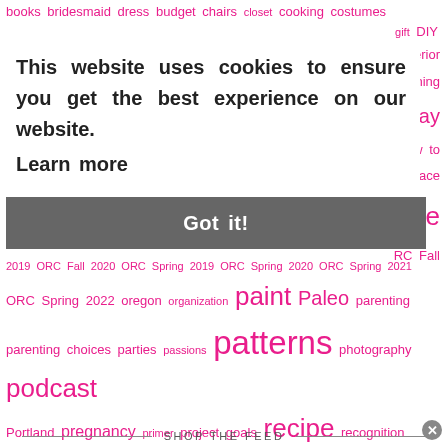[Figure (infographic): Tag cloud of blog topics in pink, various font sizes, with a cookie consent overlay banner showing 'Got it!' button]
SHOP THE FEED